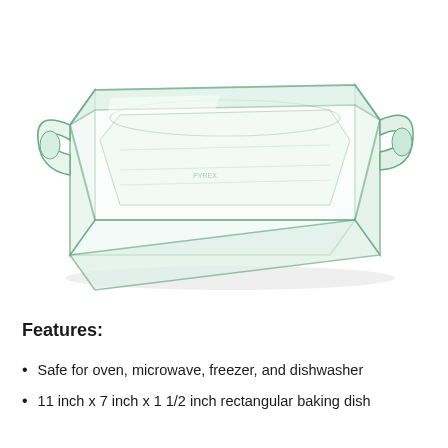[Figure (photo): A clear glass rectangular baking dish with handles on each short side, shown in a perspective/angled view from slightly above. The dish is empty and transparent.]
Features:
Safe for oven, microwave, freezer, and dishwasher
11 inch x 7 inch x 1 1/2 inch rectangular baking dish